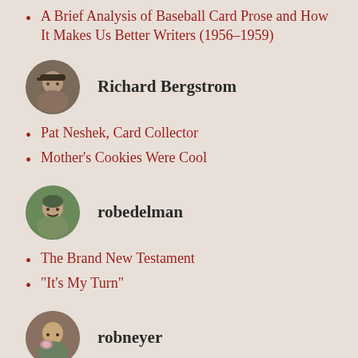A Brief Analysis of Baseball Card Prose and How It Makes Us Better Writers (1956–1959)
Richard Bergstrom
Pat Neshek, Card Collector
Mother's Cookies Were Cool
robedelman
The Brand New Testament
“It’s My Turn”
robneyer
All Action All the Time